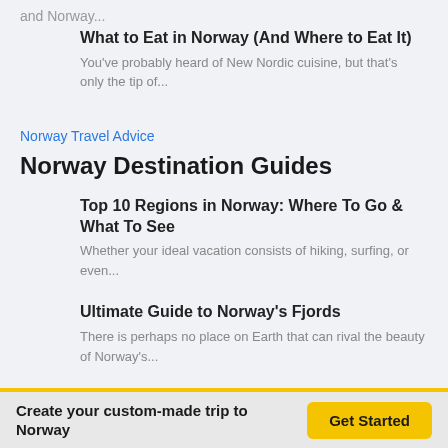and Norway...
What to Eat in Norway (And Where to Eat It)
You've probably heard of New Nordic cuisine, but that's only the tip of...
Norway Travel Advice
Norway Destination Guides
Top 10 Regions in Norway: Where To Go & What To See
Whether your ideal vacation consists of hiking, surfing, or even...
Ultimate Guide to Norway's Fjords
There is perhaps no place on Earth that can rival the beauty of Norway's...
Tips for Visiting Southern Norway: The Norwegian Riviera
Create your custom-made trip to Norway
Get Started